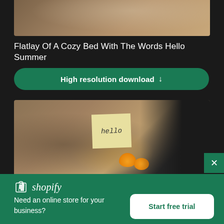[Figure (photo): Top portion of a flatlay photo showing a cozy bed with beige/tan fabric, partially visible]
Flatlay Of A Cozy Bed With The Words Hello Summer
High resolution download ↓
[Figure (photo): Photo of a cozy bed flatlay with a sticky note reading 'hello', orange slices, and a laptop visible on the right side]
[Figure (logo): Shopify logo with shopping bag icon and italic wordmark]
Need an online store for your business?
Start free trial